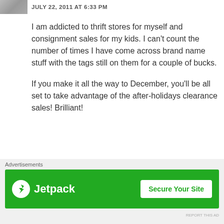JULY 22, 2011 AT 6:33 PM
I am addicted to thrift stores for myself and consignment sales for my kids. I can't count the number of times I have come across brand name stuff with the tags still on them for a couple of bucks.
If you make it all the way to December, you'll be all set to take advantage of the after-holidays clearance sales! Brilliant!
★ Like
Allyn
[Figure (screenshot): Green Jetpack advertisement banner with Jetpack logo on the left and 'Secure Your Site' button on the right]
Advertisements